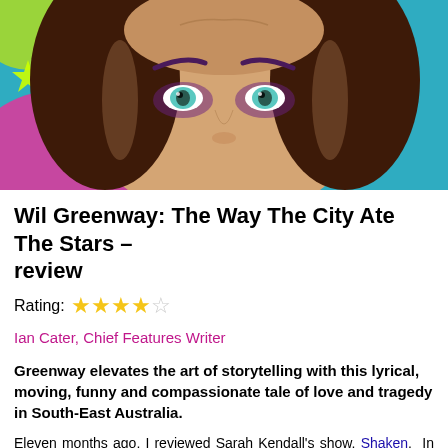[Figure (illustration): Colorful illustrated portrait of a person with dark curly hair, blue/green eyes, and vivid dramatic makeup against a bright colorful background]
Wil Greenway: The Way The City Ate The Stars – review
Rating: ★★★★☆
Ian Cater, Chief Features Writer
Greenway elevates the art of storytelling with this lyrical, moving, funny and compassionate tale of love and tragedy in South-East Australia.
Eleven months ago, I reviewed Sarah Kendall's show, Shaken. In hindsight and having listened to more of her work since on Radio 4, she perhaps deserved more than three stars. However, I stand by the assertion that for storytelling to work effectively live, "it needs a higher laughter-count, or a more vulnerable and relatable narrator. Kendall's very talented, but projects an Antipodean toughness from the moment she bounds onstage talking forcefully about dick drawings and bowel movements. As a result, she finds it harder to connect on the frequency and it's difficult number